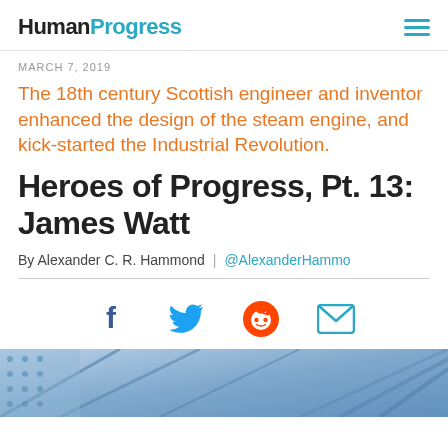HumanProgress
MARCH 7, 2019
The 18th century Scottish engineer and inventor enhanced the design of the steam engine, and kick-started the Industrial Revolution.
Heroes of Progress, Pt. 13: James Watt
By Alexander C. R. Hammond | @AlexanderHammo
[Figure (other): Social sharing icons: Facebook, Twitter, Reddit, Email]
[Figure (illustration): Decorative blue geometric illustration at bottom of page]